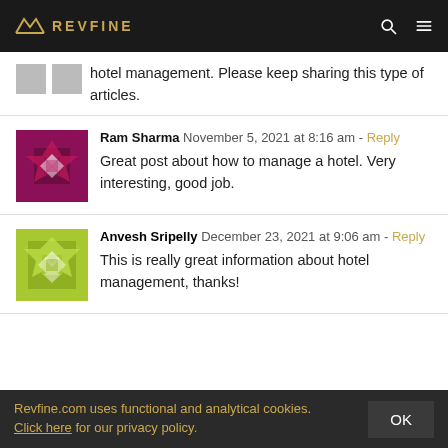REVFINE
hotel management. Please keep sharing this type of articles.
Ram Sharma  November 5, 2021 at 8:16 am · Reply
Great post about how to manage a hotel. Very interesting, good job.
Anvesh Sripelly  December 23, 2021 at 9:06 am · Reply
This is really great information about hotel management, thanks!
Revfine.com uses functional and analytical cookies. Click here for our privacy policy.  OK